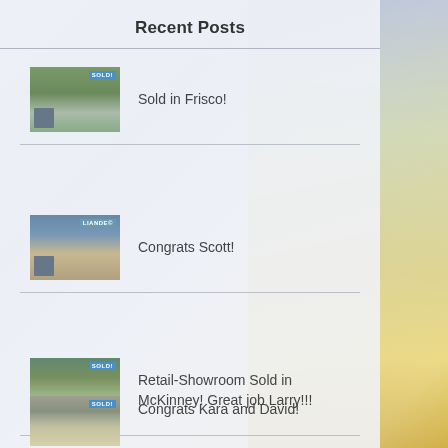Recent Posts
Sold in Frisco!
Congrats Scott!
Retail-Showroom Sold in McKinney! Great job Larry!!!
Congrats Kara and David!